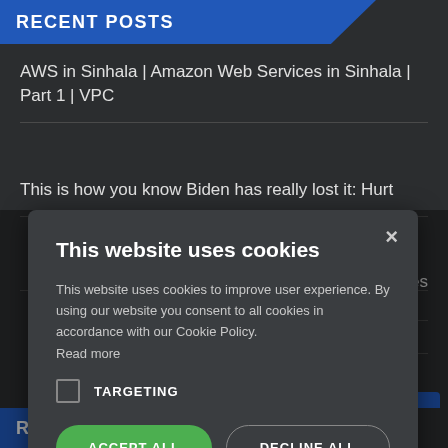RECENT POSTS
AWS in Sinhala | Amazon Web Services in Sinhala | Part 1 | VPC
This is how you know Biden has really lost it: Hurt
…o Services
…tion & the …essage | Ep
…ding Hunter
[Figure (screenshot): Cookie consent modal overlay with title 'This website uses cookies', body text about cookie usage, targeting checkbox, Accept All and Decline All buttons, and close X button]
RECENT COMMENTS